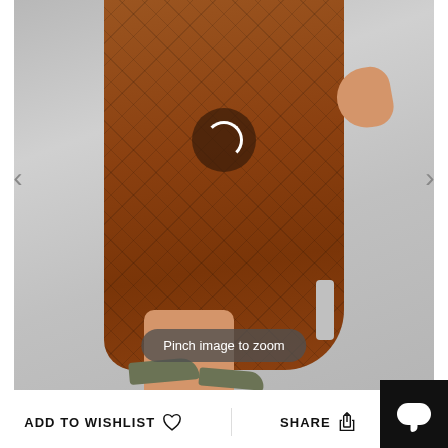[Figure (photo): A model wearing a rust/terracotta colored cable-knit midi skirt with a side slit, shown from waist down. The model has one hand on hip. She wears olive green strappy sandals. The background is light gray. Navigation arrows are visible on left and right sides. A loading spinner icon overlays the center of the image. A 'Pinch image to zoom' tooltip appears at the bottom of the photo.]
Pinch image to zoom
ADD TO WISHLIST
SHARE